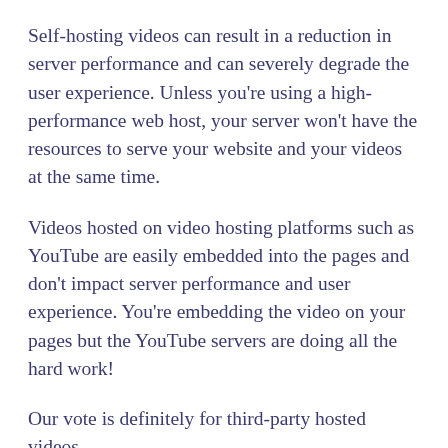Self-hosting videos can result in a reduction in server performance and can severely degrade the user experience. Unless you're using a high-performance web host, your server won't have the resources to serve your website and your videos at the same time.
Videos hosted on video hosting platforms such as YouTube are easily embedded into the pages and don't impact server performance and user experience. You're embedding the video on your pages but the YouTube servers are doing all the hard work!
Our vote is definitely for third-party hosted videos.
The good thing about Presto Player is the support for